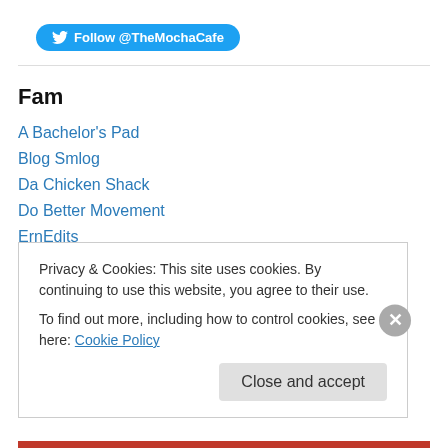[Figure (other): Twitter Follow button for @TheMochaCafe]
Fam
A Bachelor's Pad
Blog Smlog
Da Chicken Shack
Do Better Movement
ErnEdits
Front-Free
KennaRai
Naptural Hautee
Privacy & Cookies: This site uses cookies. By continuing to use this website, you agree to their use. To find out more, including how to control cookies, see here: Cookie Policy
Close and accept